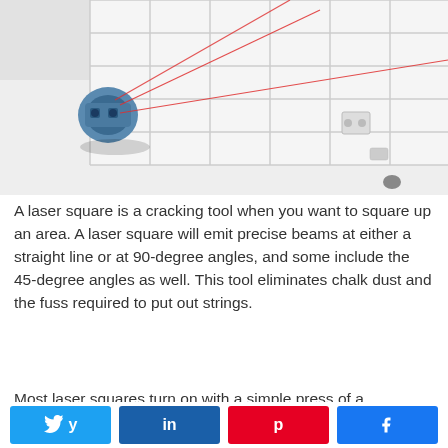[Figure (photo): A laser square tool mounted on a white tiled wall, emitting red laser beams at angles across the tile grid.]
A laser square is a cracking tool when you want to square up an area. A laser square will emit precise beams at either a straight line or at 90-degree angles, and some include the 45-degree angles as well. This tool eliminates chalk dust and the fuss required to put out strings.
Most laser squares turn on with a simple press of a
Share buttons: Twitter, LinkedIn, Pinterest, Facebook